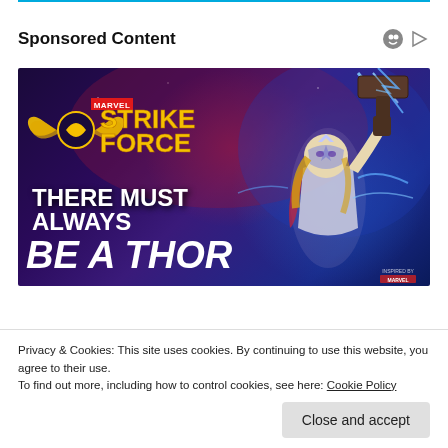Sponsored Content
[Figure (illustration): Marvel Strike Force sponsored advertisement showing a female Thor character raising a hammer with lightning effects. Text reads 'THERE MUST ALWAYS BE A THOR'. Features Marvel Strike Force logo with golden typography on a dark purple/blue background.]
Privacy & Cookies: This site uses cookies. By continuing to use this website, you agree to their use.
To find out more, including how to control cookies, see here: Cookie Policy
Close and accept